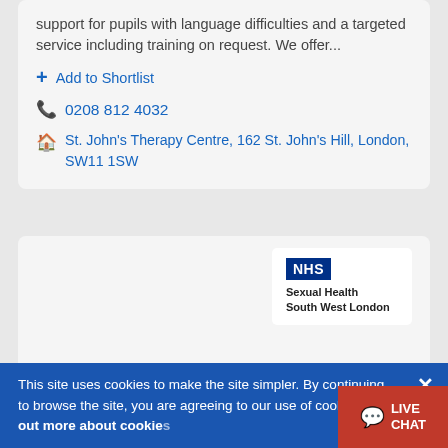support for pupils with language difficulties and a targeted service including training on request. We offer...
+ Add to Shortlist
0208 812 4032
St. John's Therapy Centre, 162 St. John's Hill, London, SW11 1SW
[Figure (logo): NHS Sexual Health South West London logo]
Sexual Health South West London
This site uses cookies to make the site simpler. By continuing to browse the site, you are agreeing to our use of cookies. Find out more about cookies